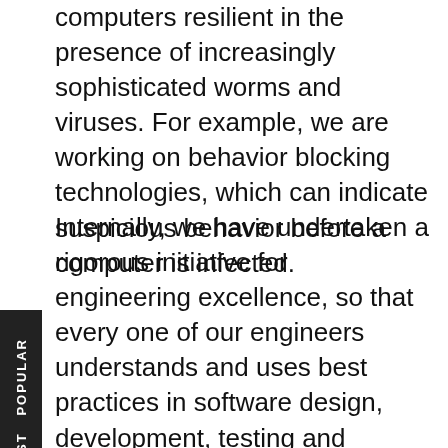computers resilient in the presence of increasingly sophisticated worms and viruses. For example, we are working on behavior blocking technologies, which can indicate suspicious behavior before a computer is infected.
Internally, we have undertaken a rigorous initiative for engineering excellence, so that every one of our engineers understands and uses best practices in software design, development, testing and release. We're offering security training to software developers outside of Microsoft as well, and providing prescriptive guidance to our partners and customers. We also have new software development tools that automatically check code for common errors, and test it more thoroughly before it's released. We're using these tools in